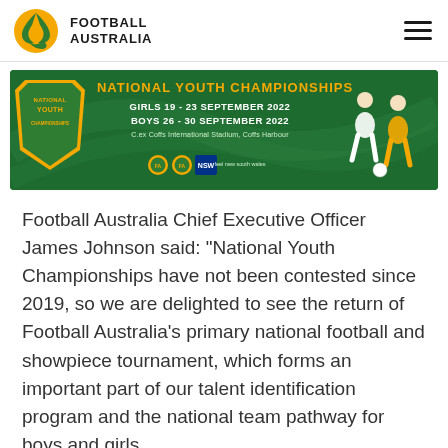Football Australia
[Figure (photo): National Youth Championships banner. Dark green background with yellow shield logo reading 'NATIONAL YOUTH CHAMPIONSHIPS'. Text: 'GIRLS 19 - 23 SEPTEMBER 2022', 'BOYS 26 - 30 SEPTEMBER 2022', 'C.ex Coffs International Stadium, Coffs Harbour'. Logos of Football Australia, NSW and Feel New South Wales. Two female soccer players on right side.]
Football Australia Chief Executive Officer James Johnson said: “National Youth Championships have not been contested since 2019, so we are delighted to see the return of Football Australia’s primary national football and showpiece tournament, which forms an important part of our talent identification program and the national team pathway for boys and girls.